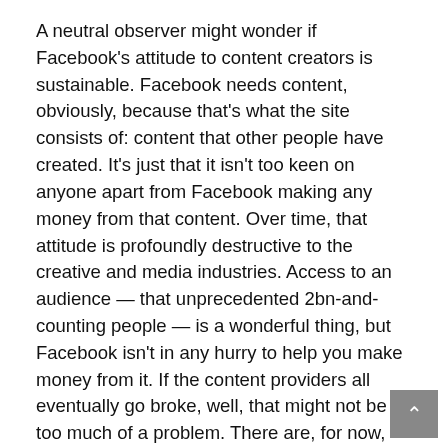A neutral observer might wonder if Facebook's attitude to content creators is sustainable. Facebook needs content, obviously, because that's what the site consists of: content that other people have created. It's just that it isn't too keen on anyone apart from Facebook making any money from that content. Over time, that attitude is profoundly destructive to the creative and media industries. Access to an audience — that unprecedented 2bn-and-counting people — is a wonderful thing, but Facebook isn't in any hurry to help you make money from it. If the content providers all eventually go broke, well, that might not be too much of a problem. There are, for now, lots of willing providers: anyone on Facebook is, in a sense, working for Facebook, adding value to the company.
Taplin has worked in academia and in the film industry. The reason he feels so strongly about these questions